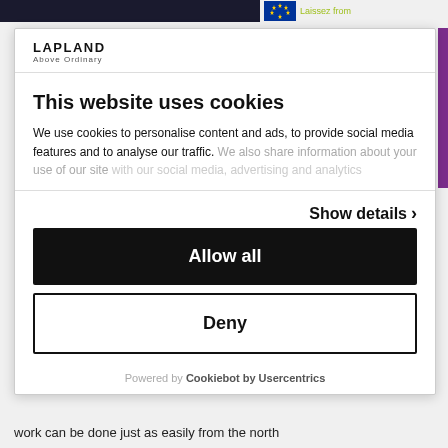[Figure (logo): LAPLAND Above Ordinary logo in top left of modal]
This website uses cookies
We use cookies to personalise content and ads, to provide social media features and to analyse our traffic. We also share information about your use of our site
Show details >
Allow all
Deny
Powered by Cookiebot by Usercentrics
work can be done just as easily from the north